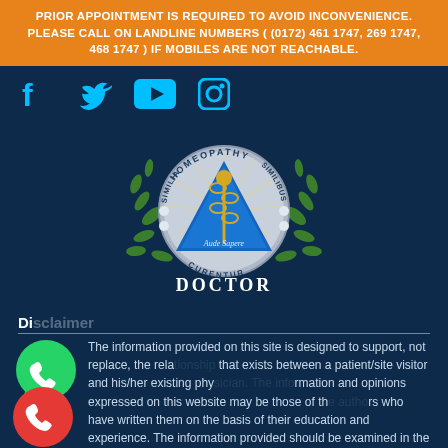PRIOR APPOINTMENT IS REQUIRED TO AVOID INCONVENIENCE. PLEASE CALL ON LANDLINE NUMBERS ( (0172) 461 1747, 269 1747, 468 1747 ) IF MOBILES ARE NOT REACHABLE.
[Figure (logo): Homeopathy Doctor logo: circular emblem with caduceus symbol, blue triangle, olive branches, text reading HOMEOPATHY, SIMILIA SIMILIBUS, Aude Sapere, CURENTOR, DOCTOR]
Di...
The information provided on this site is designed to support, not replace, the relationship that exists between a patient/site visitor and his/her existing physician. The information and opinions expressed on this website may be those of the authors who have written them on the basis of their education and experience. The information provided should be examined in the light of